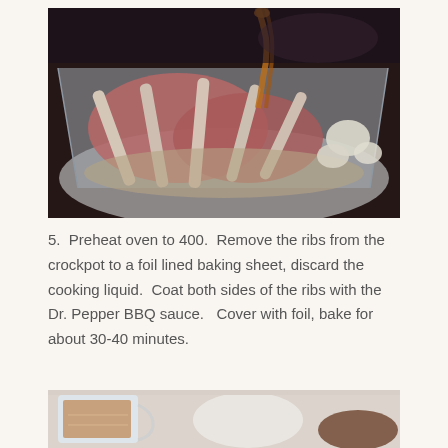[Figure (photo): Raw pork ribs in a foil-lined crockpot with onion pieces, liquid being poured over them.]
5.  Preheat oven to 400.  Remove the ribs from the crockpot to a foil lined baking sheet, discard the cooking liquid.  Coat both sides of the ribs with the Dr. Pepper BBQ sauce.   Cover with foil, bake for about 30-40 minutes.
[Figure (photo): Partial view of ingredients including a measuring cup with dark liquid and other items on a surface.]